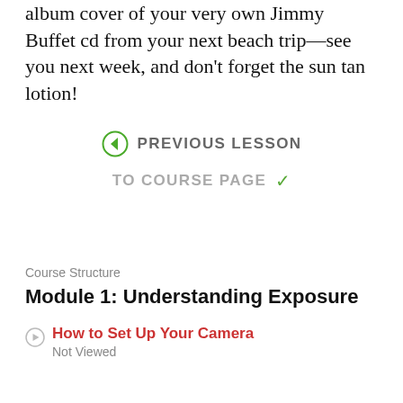album cover of your very own Jimmy Buffet cd from your next beach trip—see you next week, and don't forget the sun tan lotion!
← PREVIOUS LESSON
TO COURSE PAGE ✓
Course Structure
Module 1: Understanding Exposure
How to Set Up Your Camera
Not Viewed